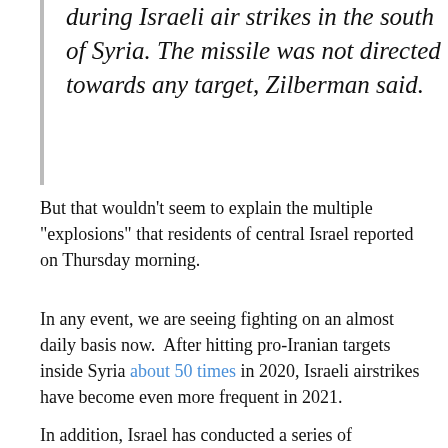during Israeli air strikes in the south of Syria. The missile was not directed towards any target, Zilberman said.
But that wouldn't seem to explain the multiple "explosions" that residents of central Israel reported on Thursday morning.
In any event, we are seeing fighting on an almost daily basis now. After hitting pro-Iranian targets inside Syria about 50 times in 2020, Israeli airstrikes have become even more frequent in 2021.
In addition, Israel has conducted a series of extremely bold attacks inside Iran itself over